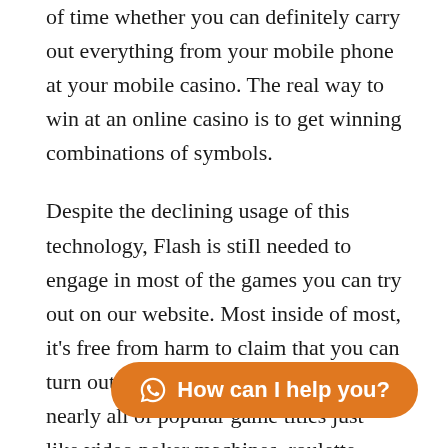of time whether you can definitely carry out everything from your mobile phone at your mobile casino. The real way to win at an online casino is to get winning combinations of symbols.
Despite the declining usage of this technology, Flash is stiIl needed to engage in most of the games you can try out on our website. Most inside of most, it's free from harm to claim that you can turn out to be in a position to look for nearly all of popular game titles just like video poker machines, roulette, blackjack, craps, movie casino poker etc. WinningRoom Internet casino announcements just about all Uk participants to state this astounding reward. Remaining have the ability to help download an on the internet gambling den in your engage in and personal co... have fun with is certainly pretty comfortable.